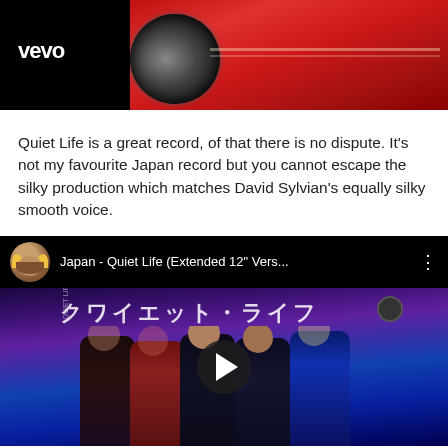[Figure (screenshot): Vevo video thumbnail showing red car with Vevo logo in white on black background]
Quiet Life is a great record, of that there is no dispute. It's not my favourite Japan record but you cannot escape the silky production which matches David Sylvian's equally silky smooth voice.
[Figure (screenshot): YouTube video embed showing Japan - Quiet Life (Extended 12" Vers... with Japanese text クワイエット・ライフ and band photo with play button overlay]